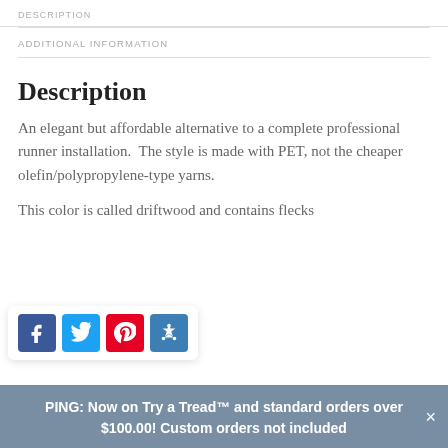DESCRIPTION
ADDITIONAL INFORMATION
Description
An elegant but affordable alternative to a complete professional runner installation.  The style is made with PET, not the cheaper olefin/polypropylene-type yarns.
This color is called driftwood and contains flecks
PING: Now on Try a Tread™ and standard orders over $100.00! Custom orders not included